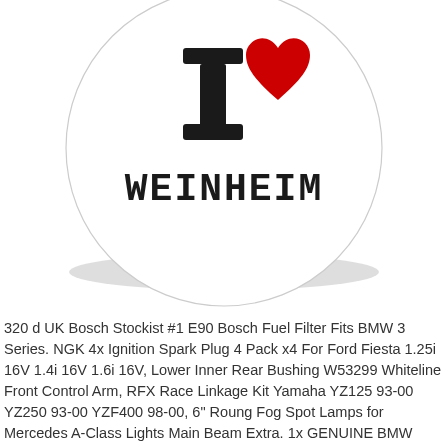[Figure (illustration): Circular 'I Love Weinheim' sticker/badge. White circle with a black letter I (stylized), a red heart symbol, and bold black slab-serif text 'WEINHEIM' underneath. The circle has a light gray drop shadow.]
320 d UK Bosch Stockist #1 E90 Bosch Fuel Filter Fits BMW 3 Series. NGK 4x Ignition Spark Plug 4 Pack x4 For Ford Fiesta 1.25i 16V 1.4i 16V 1.6i 16V, Lower Inner Rear Bushing W53299 Whiteline Front Control Arm, RFX Race Linkage Kit Yamaha YZ125 93-00 YZ250 93-00 YZF400 98-00, 6" Roung Fog Spot Lamps for Mercedes A-Class Lights Main Beam Extra. 1x GENUINE BMW MINI WHEEL BOLT M12x1.5 26mm Corrolube Black 60 Degree Taper. Pair Rhino Delta Bar Roof Rack Bar Up Stand Load Stops End Cap Tie Bar. Sticker Decal I Love Weinheim 6cm, Ford Escort MK7 100w Clear Xenon HID High/Low